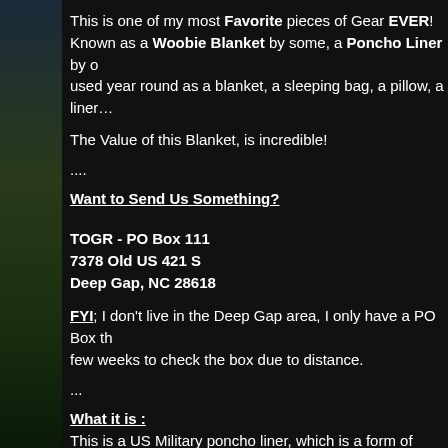This is one of my most Favorite pieces of Gear EVER! Known as a Woobie Blanket by some, a Poncho Liner by o... used year round as a blanket, a sleeping bag, a pillow, a liner...
The Value of this Blanket, is incredible!
....
Want to Send Us Something?
TOGR - PO Box 111
7378 Old US 421 S
Deep Gap, NC 28618
FYI; I don't live in the Deep Gap area, I only have a PO Box th... few weeks to check the box due to distance.
...
What it is :
This is a US Military poncho liner, which is a form of blanket th...
It was designed to be used alone or with a US Military Ponch... be a blanket, a sleeping bag, and a protective cover.